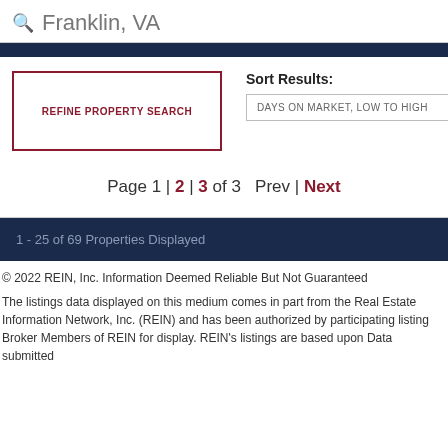Franklin, VA
REFINE PROPERTY SEARCH
Sort Results: DAYS ON MARKET, LOW TO HIGH
Page 1 | 2 | 3 of 3   Prev | Next
1 - 25 of 69 Properties Displayed
© 2022 REIN, Inc. Information Deemed Reliable But Not Guaranteed
The listings data displayed on this medium comes in part from the Real Estate Information Network, Inc. (REIN) and has been authorized by participating listing Broker Members of REIN for display. REIN's listings are based upon Data submitted